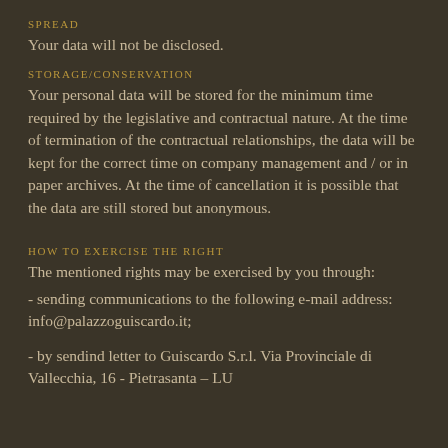SPREAD
Your data will not be disclosed.
STORAGE/CONSERVATION
Your personal data will be stored for the minimum time required by the legislative and contractual nature. At the time of termination of the contractual relationships, the data will be kept for the correct time on company management and / or in paper archives. At the time of cancellation it is possible that the data are still stored but anonymous.
HOW TO EXERCISE THE RIGHT
The mentioned rights may be exercised by you through:
- sending communications to the following e-mail address: info@palazzoguiscardo.it;
- by sendind letter to Guiscardo S.r.l. Via Provinciale di Vallecchia, 16 - Pietrasanta – LU.